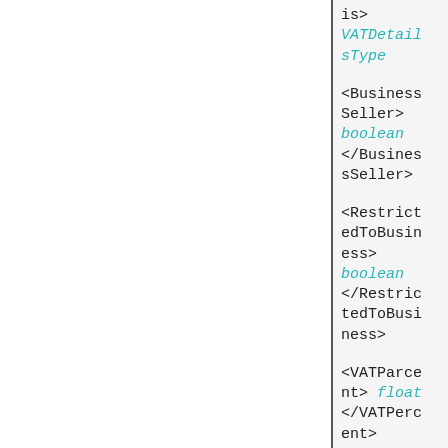|  |  |
| --- | --- |
|  | is>
VATDetailsType |
|  | <BusinessSeller>
boolean
</BusinessSeller> |
|  | <RestrictedToBusiness>
boolean
</RestrictedToBusiness> |
|  | <VATPercent> float
</VATPercent> |